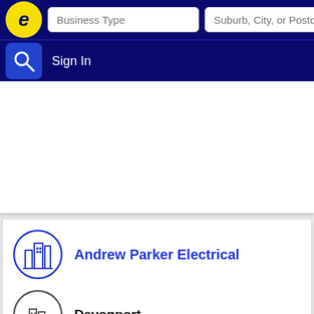[Figure (screenshot): Blue navigation bar with yellow 'e' logo, Business Type search input, and Suburb/City/Postcode search input]
Sign In
[Figure (other): White advertisement/content area]
[Figure (other): Business listing card with building icon and name: Andrew Parker Electrical]
Andrew Parker Electrical
Devonport